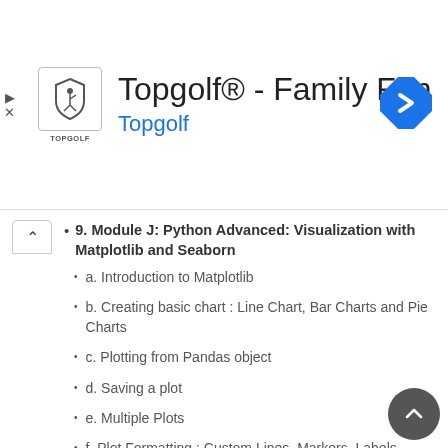[Figure (screenshot): Topgolf advertisement banner with logo, title 'Topgolf® - Family Fun', subtitle 'Topgolf', and navigation arrow icon]
9. Module J: Python Advanced: Visualization with Matplotlib and Seaborn
a. Introduction to Matplotlib
b. Creating basic chart : Line Chart, Bar Charts and Pie Charts
c. Plotting from Pandas object
d. Saving a plot
e. Multiple Plots
f. Plot Formatting : Custom Lines, Markers, Labels, Annotations, Colors